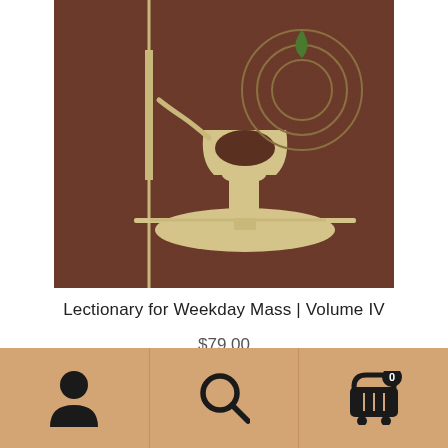[Figure (illustration): Book cover of 'Lectionary for Weekday Mass | Volume IV' — brown leather-textured hardcover with gold/cream decorative design featuring a stylized chalice or lamp on a pedestal with concentric circular design elements and a small green flame. Vertical gold line on left side.]
Lectionary for Weekday Mass | Volume IV
$79.00
[Figure (screenshot): Bottom navigation bar with tan/sandy background containing three icon sections: person/user icon on left, search/magnifying glass in center, shopping cart with badge showing '0' on right.]